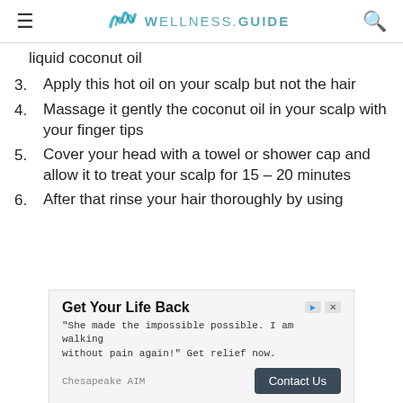WELLNESS.GUIDE
liquid coconut oil
3. Apply this hot oil on your scalp but not the hair
4. Massage it gently the coconut oil in your scalp with your finger tips
5. Cover your head with a towel or shower cap and allow it to treat your scalp for 15 – 20 minutes
6. After that rinse your hair thoroughly by using
[Figure (other): Advertisement banner: 'Get Your Life Back' — She made the impossible possible. I am walking without pain again! Get relief now. Chesapeake AIM. Contact Us button.]